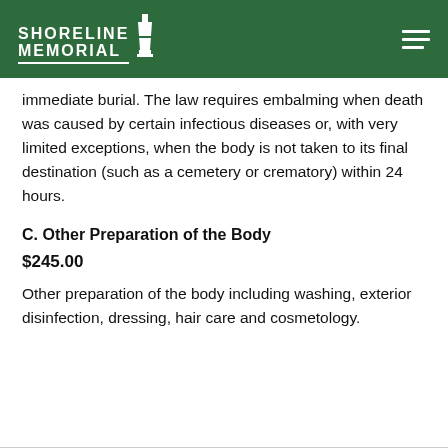Shoreline Memorial
immediate burial. The law requires embalming when death was caused by certain infectious diseases or, with very limited exceptions, when the body is not taken to its final destination (such as a cemetery or crematory) within 24 hours.
C. Other Preparation of the Body
$245.00
Other preparation of the body including washing, exterior disinfection, dressing, hair care and cosmetology.